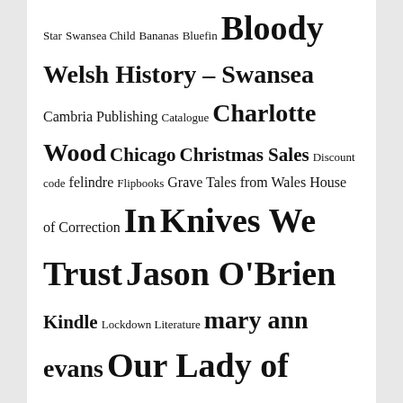Star Swansea Child Bananas Bluefin Bloody Welsh History – Swansea Cambria Publishing Catalogue Charlotte Wood Chicago Christmas Sales Discount code felindre Flipbooks Grave Tales from Wales House of Correction In Knives We Trust Jason O'Brien Kindle Lockdown Literature mary ann evans Our Lady of Mumbles Policeman royal charter Stories in Welsh Stone Swansea Swansea in 50 Buildings Swansea in the Fifties Swansea Library Swansea Murder! Swansea Murders Swansea Then and Now Teddy Girls The History Press The Swansea Book of Days Transportation Vyrnwy